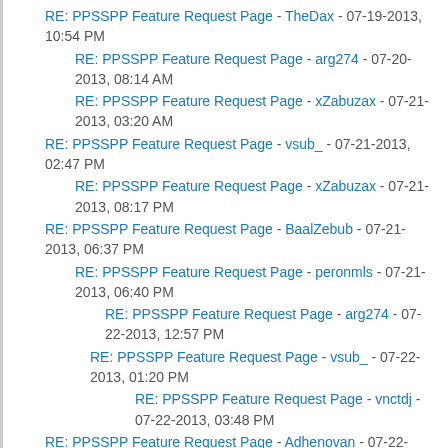RE: PPSSPP Feature Request Page - TheDax - 07-19-2013, 10:54 PM
RE: PPSSPP Feature Request Page - arg274 - 07-20-2013, 08:14 AM
RE: PPSSPP Feature Request Page - xZabuzax - 07-21-2013, 03:20 AM
RE: PPSSPP Feature Request Page - vsub_ - 07-21-2013, 02:47 PM
RE: PPSSPP Feature Request Page - xZabuzax - 07-21-2013, 08:17 PM
RE: PPSSPP Feature Request Page - BaalZebub - 07-21-2013, 06:37 PM
RE: PPSSPP Feature Request Page - peronmls - 07-21-2013, 06:40 PM
RE: PPSSPP Feature Request Page - arg274 - 07-22-2013, 12:57 PM
RE: PPSSPP Feature Request Page - vsub_ - 07-22-2013, 01:20 PM
RE: PPSSPP Feature Request Page - vnctdj - 07-22-2013, 03:48 PM
RE: PPSSPP Feature Request Page - Adhenovan - 07-22-2013, 06:16 AM
RE: PPSSPP Feature Request Page - azzuryo - 07-22-2013, 08:41 AM
RE: PPSSPP Feature Request Page - TheDax - 07-22-2013, 07:43 PM
RE: PPSSPP Feature Request Page - vnctdj - 07-22-2013, 07:57 PM
RE: PPSSPP Feature Request Page - GuilhermeGS2 - 07-22-2013, 08:04 PM